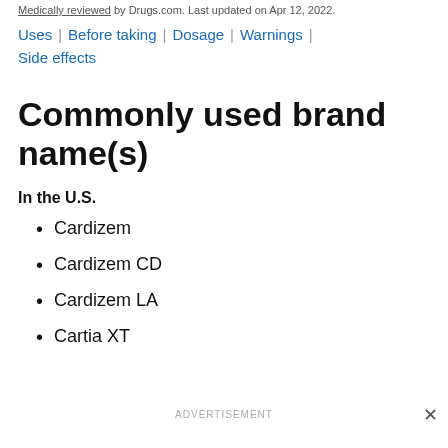Medically reviewed by Drugs.com. Last updated on Apr 12, 2022.
Uses | Before taking | Dosage | Warnings | Side effects
Commonly used brand name(s)
In the U.S.
Cardizem
Cardizem CD
Cardizem LA
Cartia XT